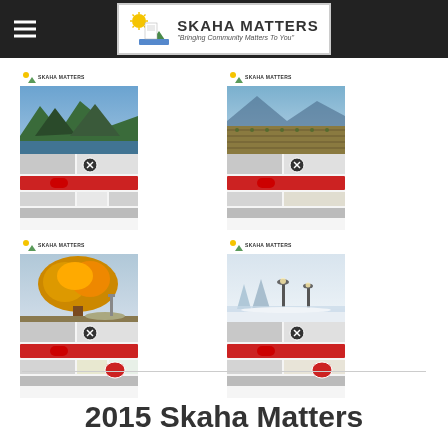Skaha Matters — Navigation bar with logo
[Figure (screenshot): Skaha Matters magazine cover with summer lake/mountain photo]
[Figure (screenshot): Skaha Matters magazine cover with vineyard/winery photo]
[Figure (screenshot): Skaha Matters magazine cover with autumn tree foliage photo]
[Figure (screenshot): Skaha Matters magazine cover with winter snow/lamp post photo]
2015 Skaha Matters